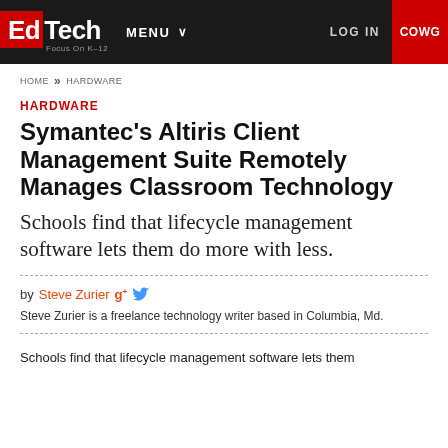EdTech Focus On K-12 | MENU | LOG IN | COWG
HOME >> HARDWARE
HARDWARE
Symantec's Altiris Client Management Suite Remotely Manages Classroom Technology
Schools find that lifecycle management software lets them do more with less.
by Steve Zurier
Steve Zurier is a freelance technology writer based in Columbia, Md.
Schools find that lifecycle management software lets them